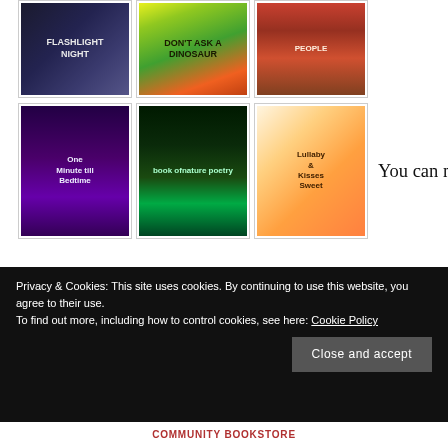[Figure (photo): Top row of three book covers: 'Flashlight Night', 'Don't Ask a Dinosaur', and a third book about People, each in a bordered frame.]
[Figure (photo): Second row of three book covers: 'One Minute till Bedtime', 'Book of Nature Poetry' (National Geographic), and 'Lullaby & Kisses Sweet', each in a bordered frame. Text 'You can now' appears to the right of the third cover.]
You can now purchase personalized signed copies of Flashlight Night, Don't Ask a Dinosaur, and ANY of the books or anthologies I've been part of!
Privacy & Cookies: This site uses cookies. By continuing to use this website, you agree to their use.
To find out more, including how to control cookies, see here: Cookie Policy
Close and accept
COMMUNITY BOOKSTORE